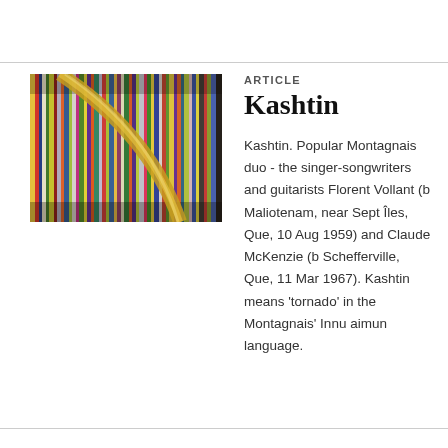[Figure (photo): Close-up photograph of colorful vinyl record sleeves/albums arranged vertically on a shelf, with a curved golden/brass instrument visible in the foreground.]
ARTICLE
Kashtin
Kashtin. Popular Montagnais duo - the singer-songwriters and guitarists Florent Vollant (b Maliotenam, near Sept Îles, Que, 10 Aug 1959) and Claude McKenzie (b Schefferville, Que, 11 Mar 1967). Kashtin means 'tornado' in the Montagnais' Innu aimun language.